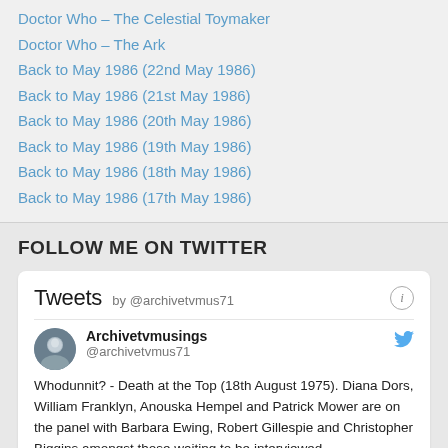Doctor Who – The Celestial Toymaker
Doctor Who – The Ark
Back to May 1986 (22nd May 1986)
Back to May 1986 (21st May 1986)
Back to May 1986 (20th May 1986)
Back to May 1986 (19th May 1986)
Back to May 1986 (18th May 1986)
Back to May 1986 (17th May 1986)
FOLLOW ME ON TWITTER
Tweets by @archivetvmus71
Archivetvmusings @archivetvmus71 Whodunnit? - Death at the Top (18th August 1975). Diana Dors, William Franklyn, Anouska Hempel and Patrick Mower are on the panel with Barbara Ewing, Robert Gillespie and Christopher Biggins amongst those waiting to be interviewed.